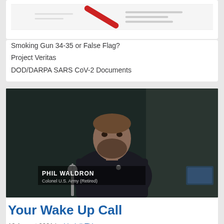[Figure (screenshot): Partial image showing a document with a red diagonal line or graphic element on white background]
Smoking Gun 34-35 or False Flag?
Project Veritas
DOD/DARPA SARS CoV-2 Documents
[Figure (photo): Phil Waldron, Colonel U.S. Army (Retired), a bearded man in a dark blazer seated at a desk with a microphone, identified by a lower-third text overlay]
Your Wake Up Call
10 August 2021 by Lindell-TV